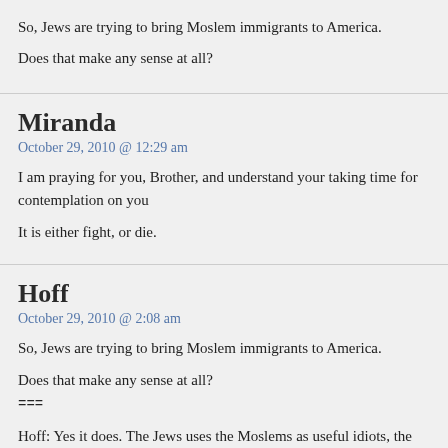So, Jews are trying to bring Moslem immigrants to America.

Does that make any sense at all?
Miranda
October 29, 2010 @ 12:29 am
I am praying for you, Brother, and understand your taking time for contemplation on you
It is either fight, or die.
Hoff
October 29, 2010 @ 2:08 am
So, Jews are trying to bring Moslem immigrants to America.

Does that make any sense at all?
===

Hoff: Yes it does. The Jews uses the Moslems as useful idiots, the Jews pit the Moslems... Jews do this wholesale in Europe. First the Jews are behind the 3 world mass immigratio...

They don't fit in and next the Jews pit white people against the Moslems.